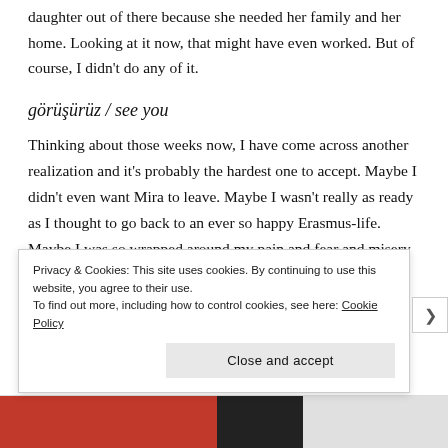daughter out of there because she needed her family and her home. Looking at it now, that might have even worked. But of course, I didn't do any of it.
görüşürüz / see you
Thinking about those weeks now, I have come across another realization and it's probably the hardest one to accept. Maybe I didn't even want Mira to leave. Maybe I wasn't really as ready as I thought to go back to an ever so happy Erasmus-life. Maybe I was so wrapped around my pain and fear and misery
Privacy & Cookies: This site uses cookies. By continuing to use this website, you agree to their use.
To find out more, including how to control cookies, see here: Cookie Policy
Close and accept